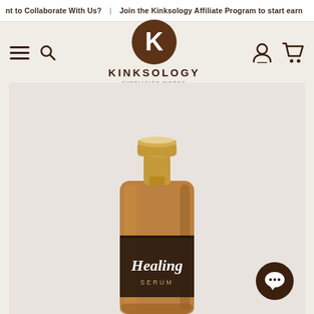nt to Collaborate With Us? | Join the Kinksology Affiliate Program to start earn
[Figure (logo): Kinksology circular logo with stylized K, brand name KINKSOLOGY, tagline SIMPLICITY WORKS]
[Figure (photo): Product photo of Kinksology Healing Serum bottle with amber glass body, gold pump cap, dark label reading Healing SERUM, on a light grey-beige background]
[Figure (other): Chat support bubble icon in dark brown]